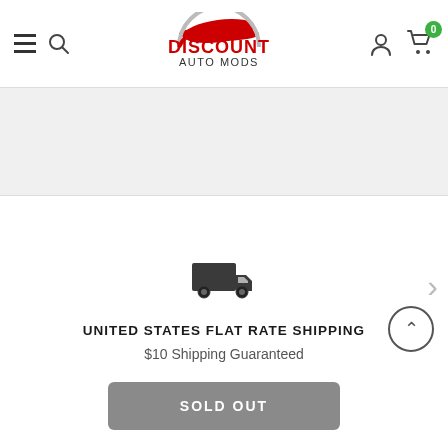Discount Auto Mods — navigation header with menu, search, logo, account, cart (0)
[Figure (screenshot): Light gray banner area below header]
[Figure (illustration): Delivery truck icon above shipping section]
UNITED STATES FLAT RATE SHIPPING
$10 Shipping Guaranteed
TERMS/CONDITIONS/POLICIES
RETURNS
SOLD OUT